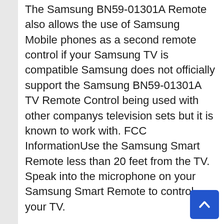The Samsung BN59-01301A Remote also allows the use of Samsung Mobile phones as a second remote control if your Samsung TV is compatible Samsung does not officially support the Samsung BN59-01301A TV Remote Control being used with other companys television sets but it is known to work with. FCC InformationUse the Samsung Smart Remote less than 20 feet from the TV. Speak into the microphone on your Samsung Smart Remote to control your TV.
However only IR signals are used to control other equipment. Samsung BN59-01266A TV Remote Control Manual and Instructions. There is danger of an explosion if you replace the batteries used in the remote with the wrong type of battery.